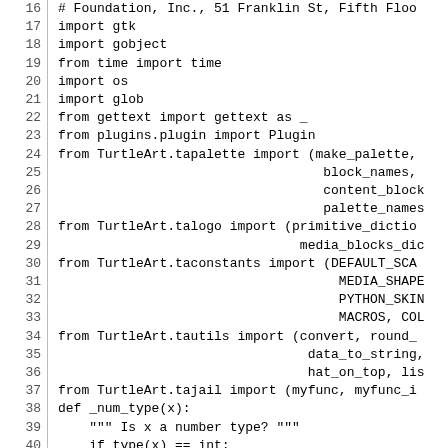Code listing lines 16-45: Python source file showing imports and function definition for TurtleArt plugin